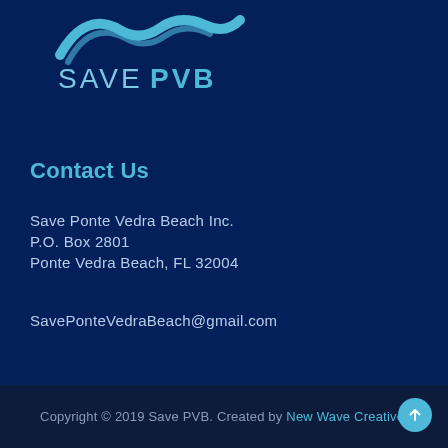[Figure (logo): Save PVB logo with wave/bird graphic above text 'SAVE PVB' on dark navy background]
Contact Us
Save Ponte Vedra Beach Inc.
P.O. Box 2801
Ponte Vedra Beach, FL 32004
SavePonteVedraBeach@gmail.com
Copyright © 2019 Save PVB. Created by New Wave Creative.